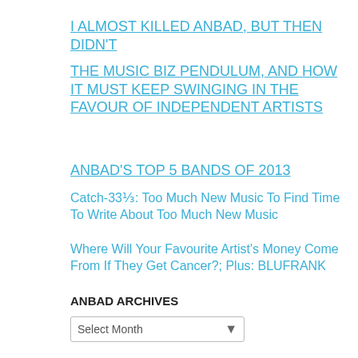I ALMOST KILLED ANBAD, BUT THEN DIDN'T
THE MUSIC BIZ PENDULUM, AND HOW IT MUST KEEP SWINGING IN THE FAVOUR OF INDEPENDENT ARTISTS
ANBAD'S TOP 5 BANDS OF 2013
Catch-33⅓: Too Much New Music To Find Time To Write About Too Much New Music
Where Will Your Favourite Artist's Money Come From If They Get Cancer?; Plus: BLUFRANK
ANBAD ARCHIVES
Select Month
HYPE MACHINE
joesparrow's loved tracks
MAGDALENA BAY - Killshot
Ed Prosek - So Beautiful
Teleman - Cactus